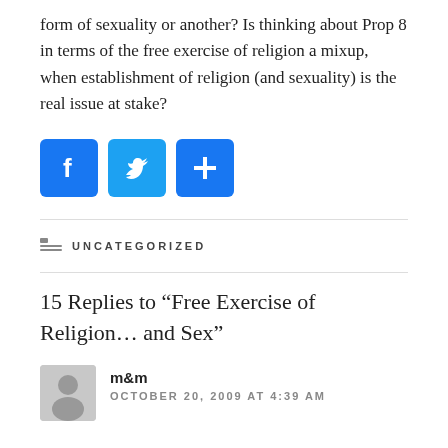form of sexuality or another? Is thinking about Prop 8 in terms of the free exercise of religion a mixup, when establishment of religion (and sexuality) is the real issue at stake?
[Figure (infographic): Social sharing buttons: Facebook (blue), Twitter (blue bird), and a blue plus/share button]
UNCATEGORIZED
15 Replies to “Free Exercise of Religion… and Sex”
m&m
OCTOBER 20, 2009 AT 4:39 AM